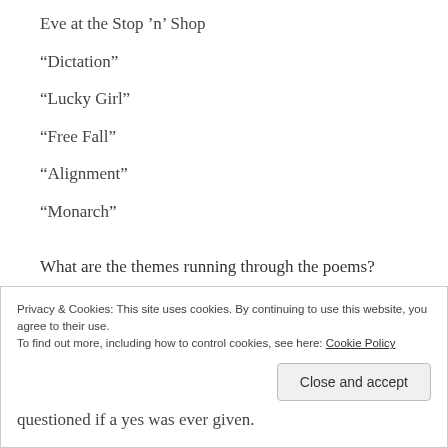Eve at the Stop ’n’ Shop
“Dictation”
“Lucky Girl”
“Free Fall”
“Alignment”
“Monarch”
What are the themes running through the poems? Not knowing who you really are, but desperately want to know.
Hiding and covering up.
Sexuality and being comfortable with it.
Privacy & Cookies: This site uses cookies. By continuing to use this website, you agree to their use. To find out more, including how to control cookies, see here: Cookie Policy
questioned if a yes was ever given.